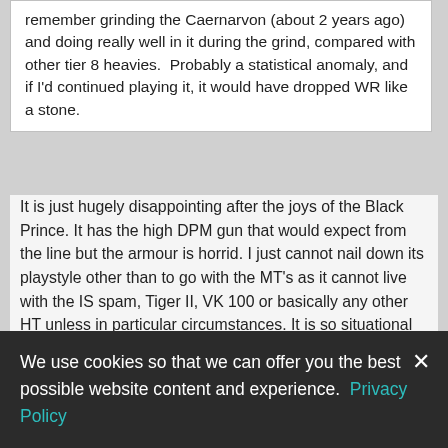remember grinding the Caernarvon (about 2 years ago) and doing really well in it during the grind, compared with other tier 8 heavies.  Probably a statistical anomaly, and if I'd continued playing it, it would have dropped WR like a stone.
It is just hugely disappointing after the joys of the Black Prince. It has the high DPM gun that would expect from the line but the armour is horrid. I just cannot nail down its playstyle other than to go with the MT's as it cannot live with the IS spam, Tiger II, VK 100 or basically any other HT unless in particular circumstances. It is so situational and sure you could pick apart another HT 1v1 but it is rare you get into those situations. Then due to the poor armour, you cannot just go forward into the enemy like the BP can which negates that fast-firing gun.

I dunno, maybe it will click with me eventually.
iTATi
We use cookies so that we can offer you the best possible website content and experience. Privacy Policy